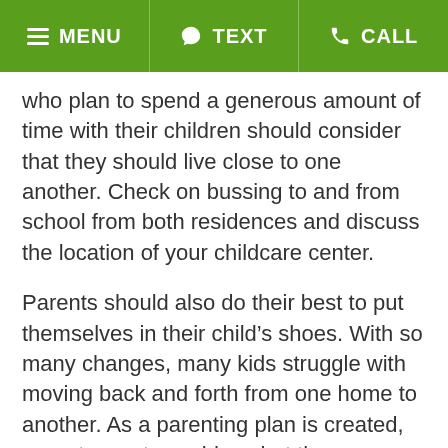MENU  TEXT  CALL
who plan to spend a generous amount of time with their children should consider that they should live close to one another. Check on bussing to and from school from both residences and discuss the location of your childcare center.
Parents should also do their best to put themselves in their child’s shoes. With so many changes, many kids struggle with moving back and forth from one home to another. As a parenting plan is created, parents must consider what the average day will look like for their child with every change.